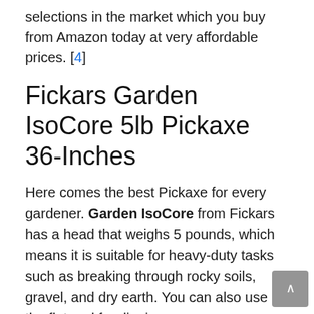selections in the market which you buy from Amazon today at very affordable prices. [4]
Fickars Garden IsoCore 5lb Pickaxe 36-Inches
Here comes the best Pickaxe for every gardener. Garden IsoCore from Fickars has a head that weighs 5 pounds, which means it is suitable for heavy-duty tasks such as breaking through rocky soils, gravel, and dry earth. You can also use the flat end for digging.
It features shock absorbent materials on the handle, which is also a patent of IsoCore Shock Control System. Thus, vibration